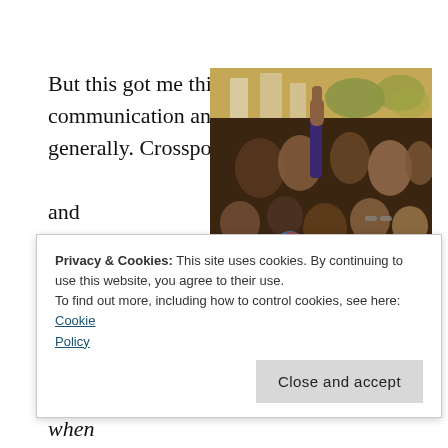But this got me thinking about communication and social boundaries more generally. Crossposting—and its
[Figure (photo): A crowd of people at what appears to be a protest or demonstration, with one person raising their fist in the air. The scene is outdoors with trees and buildings visible in the background.]
Privacy & Cookies: This site uses cookies. By continuing to use this website, you agree to their use.
To find out more, including how to control cookies, see here: Cookie Policy
[Close and accept button]
seems worth considering. What happens when